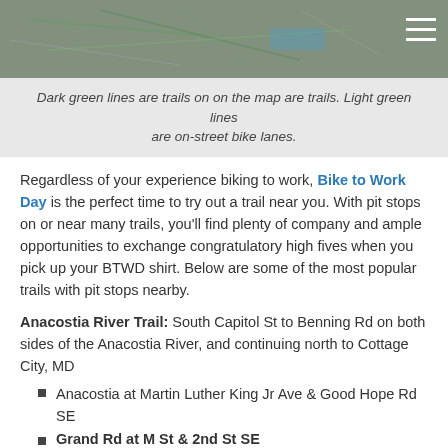[Figure (map): Aerial/street map background image showing trails and roads, with a hamburger menu icon in the top-right corner.]
Dark green lines are trails on on the map are trails. Light green lines are on-street bike lanes.
Regardless of your experience biking to work, Bike to Work Day is the perfect time to try out a trail near you. With pit stops on or near many trails, you'll find plenty of company and ample opportunities to exchange congratulatory high fives when you pick up your BTWD shirt. Below are some of the most popular trails with pit stops nearby.
Anacostia River Trail: South Capitol St to Benning Rd on both sides of the Anacostia River, and continuing north to Cottage City, MD
Anacostia at Martin Luther King Jr Ave & Good Hope Rd SE
Grand Rd at M St & 2nd St SE (partial, cut off)